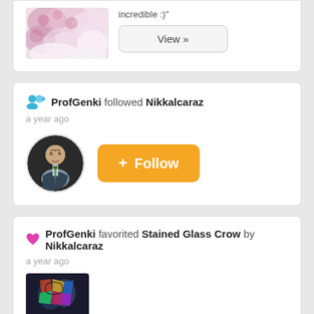incredible :)"
View »
ProfGenki followed Nikkalcaraz
a year ago
+ Follow
ProfGenki favorited Stained Glass Crow by Nikkalcaraz
a year ago